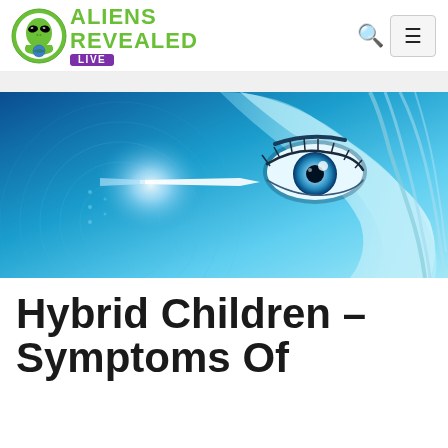Aliens Revealed Live
[Figure (photo): Close-up of a woman's eye with a blue glowing digital/futuristic light effect background]
Hybrid Children – Symptoms Of